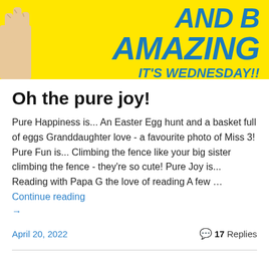[Figure (illustration): Yellow banner image with bold blue italic text reading 'AND B' on top and 'AMAZING' below, with 'IT'S WEDNESDAY!!' in blue italic at the bottom right. A hand holding a sign is partially visible on the left edge.]
Oh the pure joy!
Pure Happiness is... An Easter Egg hunt and a basket full of eggs Granddaughter love - a favourite photo of Miss 3! Pure Fun is... Climbing the fence like your big sister climbing the fence - they're so cute! Pure Joy is... Reading with Papa G the love of reading A few … Continue reading →
April 20, 2022    17 Replies